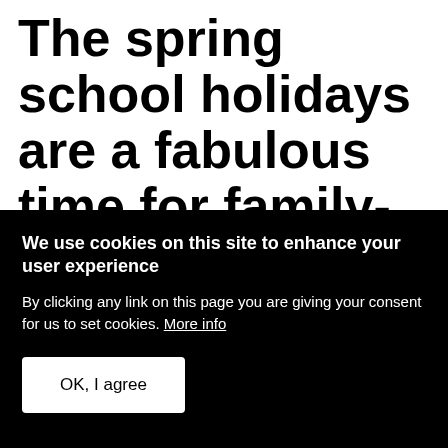The spring school holidays are a fabulous time for family-friendly fun!
We use cookies on this site to enhance your user experience
By clicking any link on this page you are giving your consent for us to set cookies. More info
OK, I agree